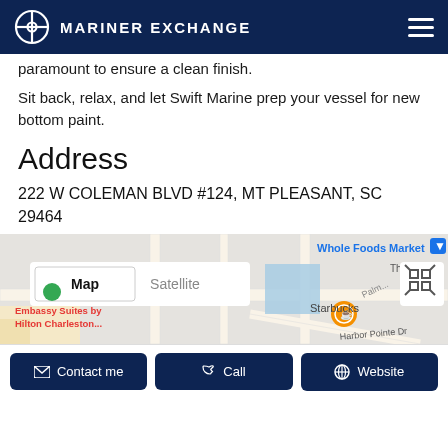MARINER EXCHANGE
paramount to ensure a clean finish.
Sit back, relax, and let Swift Marine prep your vessel for new bottom paint.
Address
222 W COLEMAN BLVD #124, MT PLEASANT, SC 29464
[Figure (map): Google Maps embed showing area around 222 W Coleman Blvd, Mt Pleasant SC. Shows Whole Foods Market, Embassy Suites by Hilton Charleston, Starbucks, Harbor Pointe Dr, and Magrath Darby road.]